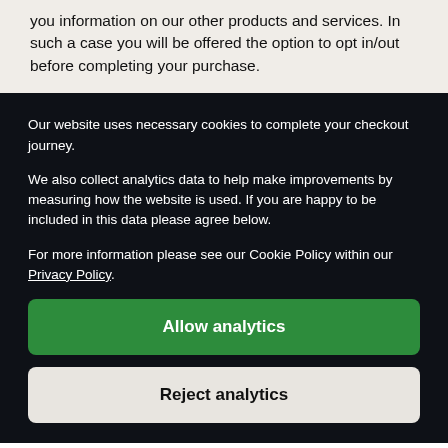you information on our other products and services. In such a case you will be offered the option to opt in/out before completing your purchase.
Our website uses necessary cookies to complete your checkout journey.
We also collect analytics data to help make improvements by measuring how the website is used. If you are happy to be included in this data please agree below.
For more information please see our Cookie Policy within our Privacy Policy.
Allow analytics
Reject analytics